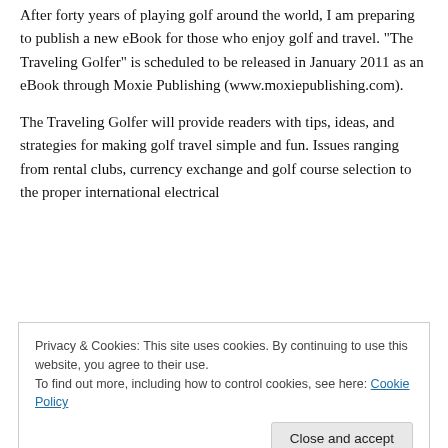After forty years of playing golf around the world, I am preparing to publish a new eBook for those who enjoy golf and travel. “The Traveling Golfer” is scheduled to be released in January 2011 as an eBook through Moxie Publishing (www.moxiepublishing.com).
The Traveling Golfer will provide readers with tips, ideas, and strategies for making golf travel simple and fun. Issues ranging from rental clubs, currency exchange and golf course selection to the proper international electrical
Privacy & Cookies: This site uses cookies. By continuing to use this website, you agree to their use.
To find out more, including how to control cookies, see here: Cookie Policy
[Figure (photo): Bottom portion of a book cover with green background and italic text reading 'how golf travel can be simple and fun']